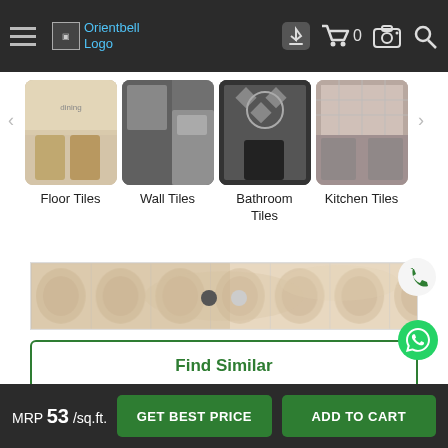[Figure (screenshot): Orientbell website mobile header with hamburger menu, logo, cart icon with 0, camera icon, and search icon on dark background]
[Figure (screenshot): Category tiles row: Floor Tiles, Wall Tiles, Bathroom Tiles, Kitchen Tiles with room photos]
[Figure (photo): Tile texture preview strip showing beige marble pattern tile]
Find Similar
Try in my room
MRP 53 /sq.ft.
GET BEST PRICE
ADD TO CART